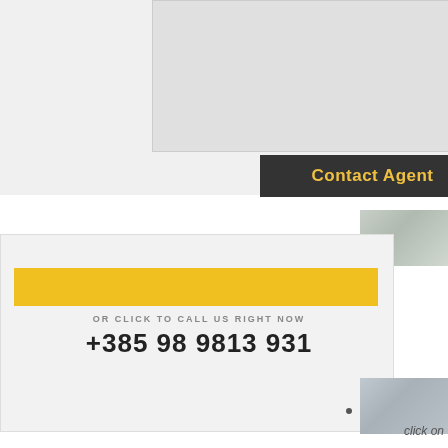[Figure (photo): White framed image placeholder area at the top of the page]
Contact Agent
[Figure (photo): Small thumbnail image of a room, top right]
OR CLICK TO CALL US RIGHT NOW
+385 98 9813 931
Kastela
(4)
[Figure (photo): Small thumbnail image of a room with sofa, right side]
SIMILAR PROPERTIES
click on